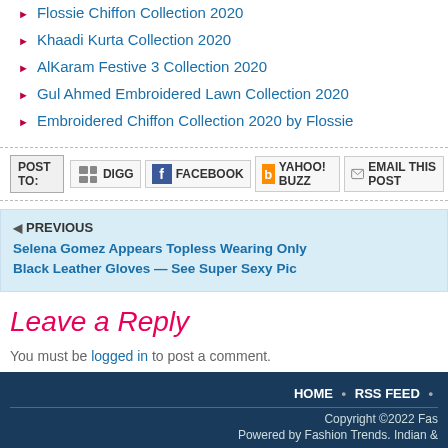Flossie Chiffon Collection 2020
Khaadi Kurta Collection 2020
AlKaram Festive 3 Collection 2020
Gul Ahmed Embroidered Lawn Collection 2020
Embroidered Chiffon Collection 2020 by Flossie
POST TO: DIGG FACEBOOK YAHOO! BUZZ EMAIL THIS POST
PREVIOUS
Selena Gomez Appears Topless Wearing Only Black Leather Gloves — See Super Sexy Pic
Leave a Reply
You must be logged in to post a comment.
HOME • RSS FEED •
Copyright ©2022 Fas
Powered by Fashion Trends. Indian &